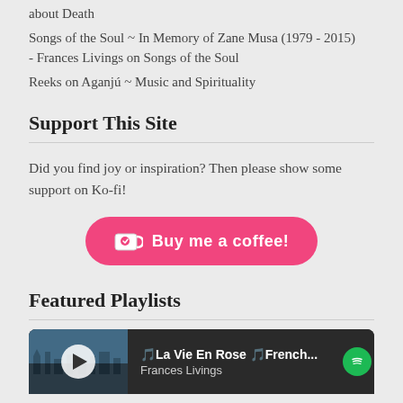about Death
Songs of the Soul ~ In Memory of Zane Musa (1979 - 2015)
- Frances Livings on Songs of the Soul
Reeks on Aganjú ~ Music and Spirituality
Support This Site
Did you find joy or inspiration? Then please show some support on Ko-fi!
[Figure (other): Pink 'Buy me a coffee!' button for Ko-fi support]
Featured Playlists
[Figure (screenshot): Spotify playlist widget showing 'La Vie En Rose French...' by Frances Livings with play button and Spotify logo]